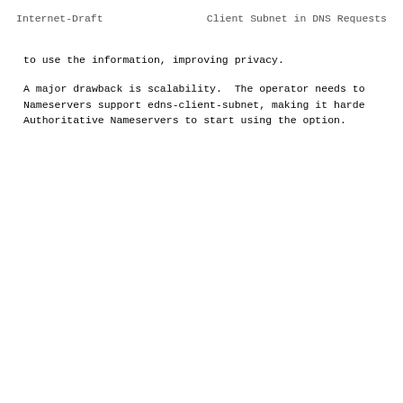Internet-Draft          Client Subnet in DNS Requests
to use the information, improving privacy.
A major drawback is scalability.  The operator needs to Nameservers support edns-client-subnet, making it harde Authoritative Nameservers to start using the option.